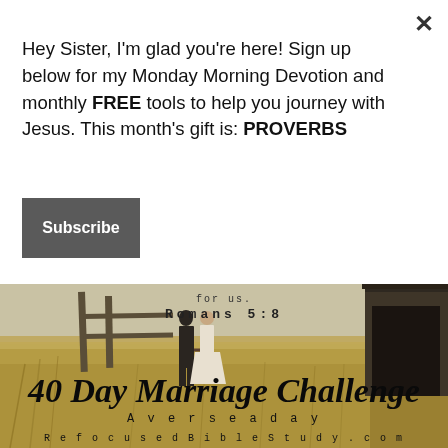Hey Sister, I'm glad you're here! Sign up below for my Monday Morning Devotion and monthly FREE tools to help you journey with Jesus. This month's gift is: PROVERBS
Subscribe
[Figure (photo): A wedding couple holding hands walking through a golden wheat field near a wooden barn structure and fence, with overlay text '40 Day Marriage Challenge / A verse a day / RefocusedBibleStudy.com' and scripture reference 'Romans 5:8' at top]